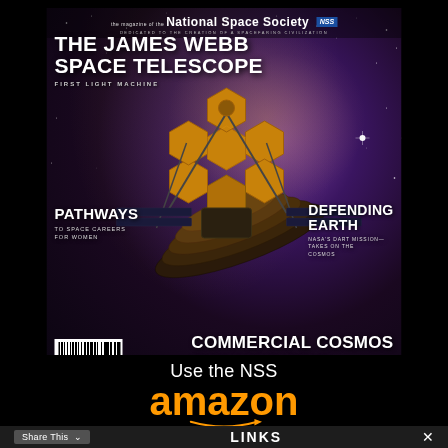[Figure (illustration): Magazine cover of Ad Astra, the magazine of the National Space Society, featuring the James Webb Space Telescope against a purple/cosmic background, with article teasers for 'Pathways to Space Careers for Women', 'Defending Earth: NASA's DART Mission Takes on the Cosmos', and 'Commercial Cosmos: Welcome to the New Space Age'. A barcode is visible at bottom left.]
Use the NSS
amazon
Links
Share This
×